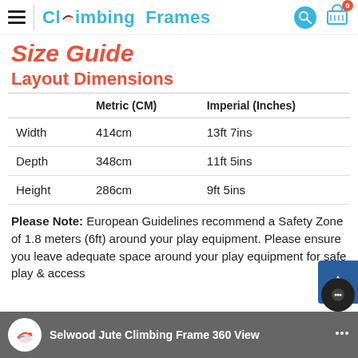Climbing Frames
Size Guide
Layout Dimensions
|  | Metric (CM) | Imperial (Inches) |
| --- | --- | --- |
| Width | 414cm | 13ft 7ins |
| Depth | 348cm | 11ft 5ins |
| Height | 286cm | 9ft 5ins |
Please Note: European Guidelines recommend a Safety Zone of 1.8 meters (6ft) around your play equipment. Please ensure you leave adequate space around your play equipment for safe play & access
Selwood Jute Climbing Frame 360 View